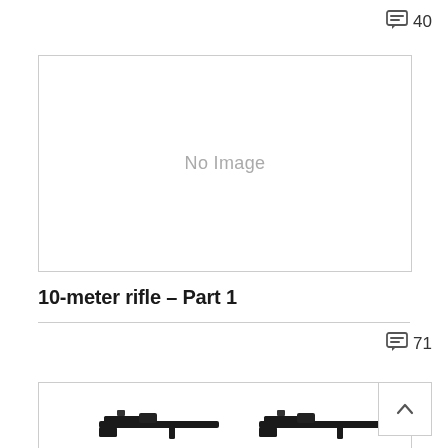40
[Figure (photo): No Image placeholder box with gray border]
10-meter rifle – Part 1
71
[Figure (photo): Partial photo of a 10-meter rifle, dark/black color, partially visible at bottom of page. Back-to-top arrow button visible in upper right corner of image area.]